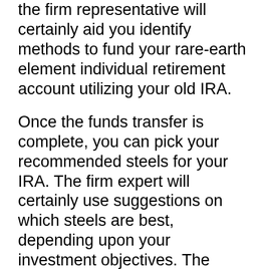the firm representative will certainly aid you identify methods to fund your rare-earth element individual retirement account utilizing your old IRA.
Once the funds transfer is complete, you can pick your recommended steels for your IRA. The firm expert will certainly use suggestions on which steels are best, depending upon your investment objectives. The smooth and also convenient rollover procedure at Goldco can use up to 10 working days.
ALTERNATING BUYBACK PROGRAM
So you bought precious metals for some reasons that are not legitimate currently?
Market your precious metal, and Goldco will